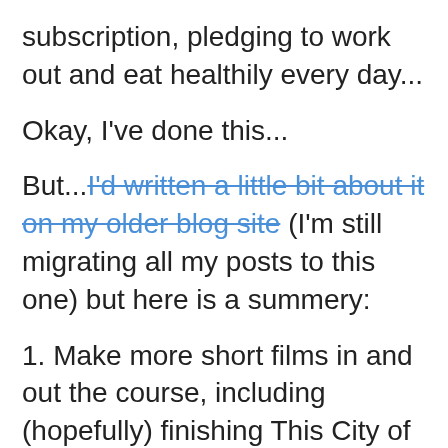subscription, pledging to work out and eat healthily every day...
Okay, I've done this...
But...I'd written a little bit about it on my older blog site (I'm still migrating all my posts to this one) but here is a summery:
1. Make more short films in and out the course, including (hopefully) finishing This City of Mine.
2. Get into more graphic design and web design based projects in my free